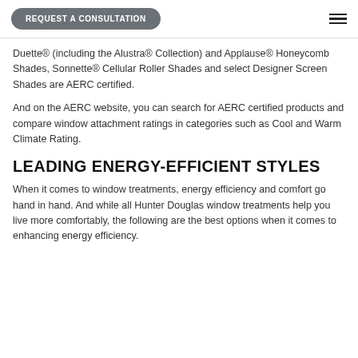REQUEST A CONSULTATION
Duette® (including the Alustra® Collection) and Applause® Honeycomb Shades, Sonnette® Cellular Roller Shades and select Designer Screen Shades are AERC certified.
And on the AERC website, you can search for AERC certified products and compare window attachment ratings in categories such as Cool and Warm Climate Rating.
LEADING ENERGY-EFFICIENT STYLES
When it comes to window treatments, energy efficiency and comfort go hand in hand. And while all Hunter Douglas window treatments help you live more comfortably, the following are the best options when it comes to enhancing energy efficiency.